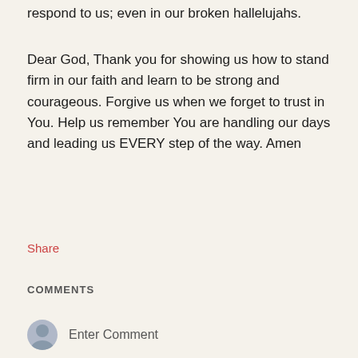respond to us; even in our broken hallelujahs.
Dear God, Thank you for showing us how to stand firm in our faith and learn to be strong and courageous. Forgive us when we forget to trust in You. Help us remember You are handling our days and leading us EVERY step of the way. Amen
Share
COMMENTS
Enter Comment